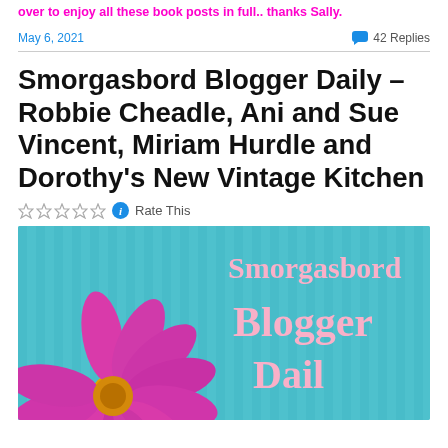over to enjoy all these book posts in full.. thanks Sally.
May 6, 2021
42 Replies
Smorgasbord Blogger Daily – Robbie Cheadle, Ani and Sue Vincent, Miriam Hurdle and Dorothy's New Vintage Kitchen
Rate This
[Figure (photo): Blog banner image with a pink/magenta daisy flower on the left and teal/blue striped background on the right, with text 'Smorgasbord Blogger Daily' in pink serif font overlaid on the right side.]